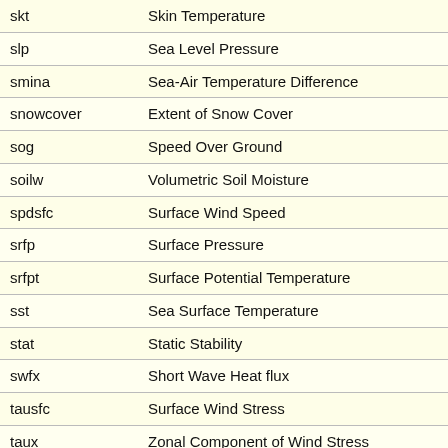| skt | Skin Temperature |
| slp | Sea Level Pressure |
| smina | Sea-Air Temperature Difference |
| snowcover | Extent of Snow Cover |
| sog | Speed Over Ground |
| soilw | Volumetric Soil Moisture |
| spdsfc | Surface Wind Speed |
| srfp | Surface Pressure |
| srfpt | Surface Potential Temperature |
| sst | Sea Surface Temperature |
| stat | Static Stability |
| swfx | Short Wave Heat flux |
| tausfc | Surface Wind Stress |
| taux | Zonal Component of Wind Stress |
| tauy | Meridional Component of Wind Stress |
| tc | Temperature Correction |
| tcdc | Total Cloud Cover |
| temp | Temperature |
| thtasfc | Potential Temperature at Sigma Level 0.9967 |
| thtasst | Potential Temperature at Skin Surface |